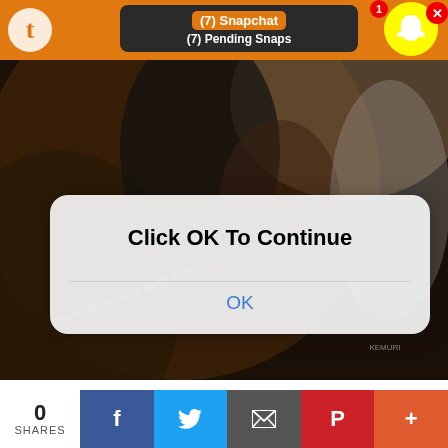[Figure (screenshot): Mobile screenshot showing a Tumblr page with a Snapchat notification overlay reading '(7) Snapchat / (7) Pending Snaps' and a popup dialog saying 'Click OK To Continue' with an OK button, over a dark fantasy dragon artwork background.]
Geist | #77992142 | For Luunai
#frfanart #flight rising art #flight rising #flight rising dragon #flight rising guardian #guardian art #gua
0 SHARES